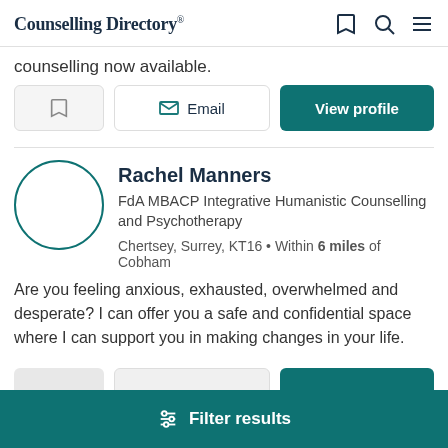Counselling Directory
counselling now available.
Email | View profile
Rachel Manners
FdA MBACP Integrative Humanistic Counselling and Psychotherapy
Chertsey, Surrey, KT16 • Within 6 miles of Cobham
Are you feeling anxious, exhausted, overwhelmed and desperate? I can offer you a safe and confidential space where I can support you in making changes in your life.
Filter results